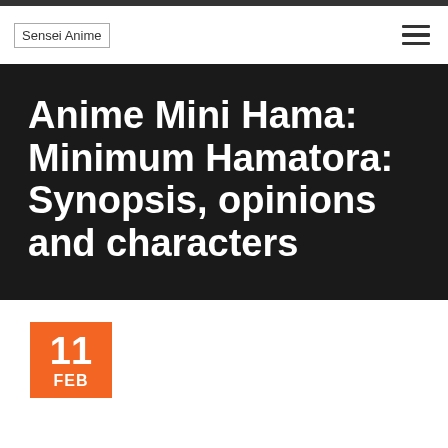Sensei Anime
Anime Mini Hama: Minimum Hamatora: Synopsis, opinions and characters
11 FEB